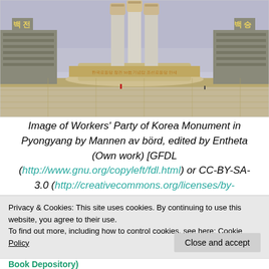[Figure (photo): Photograph of the Workers' Party of Korea Monument in Pyongyang showing large concrete fists holding tools rising from a circular base, with city buildings in the background under an overcast sky.]
Image of Workers' Party of Korea Monument in Pyongyang by Mannen av börd, edited by Entheta (Own work) [GFDL (http://www.gnu.org/copyleft/fdl.html) or CC-BY-SA-3.0 (http://creativecommons.org/licenses/by-
Privacy & Cookies: This site uses cookies. By continuing to use this website, you agree to their use.
To find out more, including how to control cookies, see here: Cookie Policy
Close and accept
Book Depository)